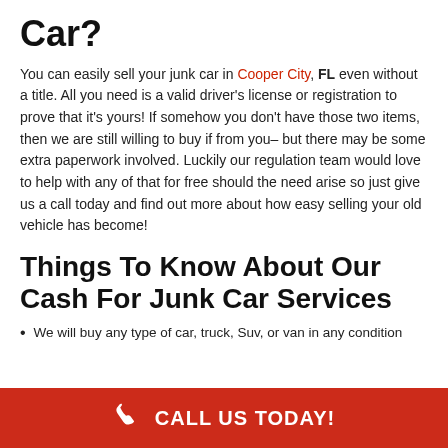Car?
You can easily sell your junk car in Cooper City, FL even without a title. All you need is a valid driver's license or registration to prove that it's yours! If somehow you don't have those two items, then we are still willing to buy if from you– but there may be some extra paperwork involved. Luckily our regulation team would love to help with any of that for free should the need arise so just give us a call today and find out more about how easy selling your old vehicle has become!
Things To Know About Our Cash For Junk Car Services
We will buy any type of car, truck, Suv, or van in any condition
CALL US TODAY!